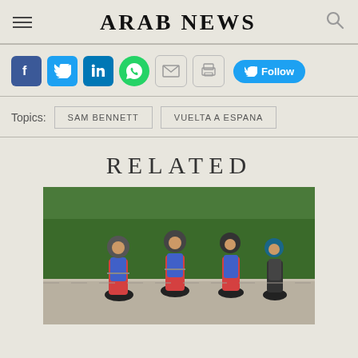ARAB NEWS
Social share icons: Facebook, Twitter, LinkedIn, WhatsApp, Email, Print, Follow
Topics: SAM BENNETT | VUELTA A ESPANA
RELATED
[Figure (photo): Group of cyclists in blue and red jerseys riding on a road, trees in background]